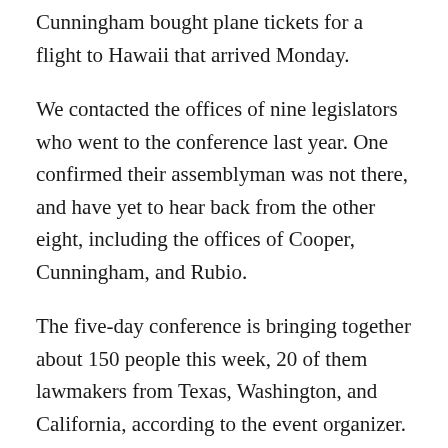Cunningham bought plane tickets for a flight to Hawaii that arrived Monday.
We contacted the offices of nine legislators who went to the conference last year. One confirmed their assemblyman was not there, and have yet to hear back from the other eight, including the offices of Cooper, Cunningham, and Rubio.
The five-day conference is bringing together about 150 people this week, 20 of them lawmakers from Texas, Washington, and California, according to the event organizer.
The event mainly features policy discussions and mingling with lobbyists and corporate sponsors.
This comes just days after California leaders discouraged travel by issuing a 14-day quarantine recommendation for anyone coming into the state.